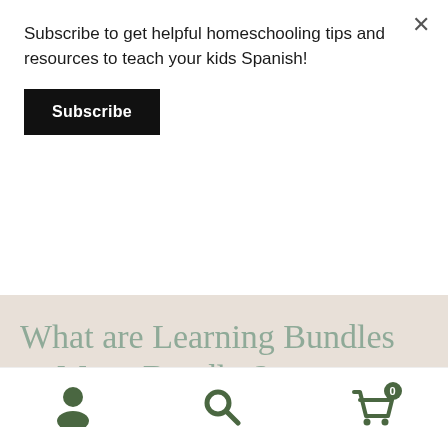Subscribe to get helpful homeschooling tips and resources to teach your kids Spanish!
Subscribe
What are Learning Bundles or Mega Bundles?
In short, a mega bundle is a compilation of digital resources made available to families for a limited time at an exceptional price